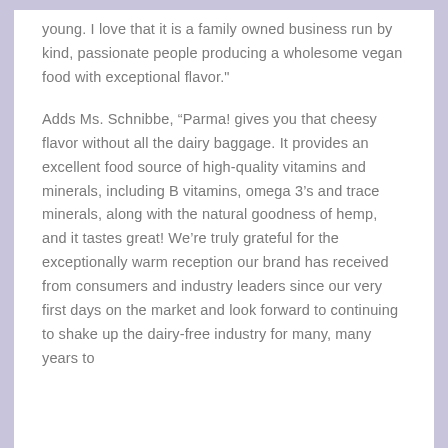young. I love that it is a family owned business run by kind, passionate people producing a wholesome vegan food with exceptional flavor."
Adds Ms. Schnibbe, “Parma! gives you that cheesy flavor without all the dairy baggage. It provides an excellent food source of high-quality vitamins and minerals, including B vitamins, omega 3’s and trace minerals, along with the natural goodness of hemp, and it tastes great! We’re truly grateful for the exceptionally warm reception our brand has received from consumers and industry leaders since our very first days on the market and look forward to continuing to shake up the dairy-free industry for many, many years to